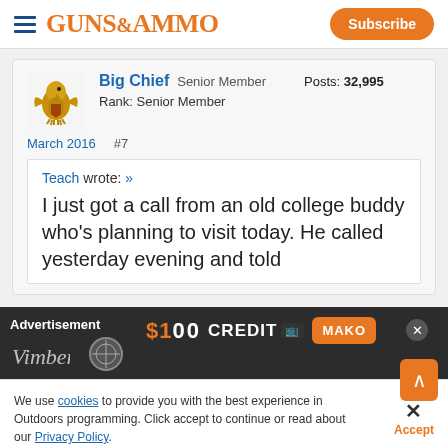GUNS&AMMO | Subscribe
Big Chief  Senior Member  Posts: 32,995
Rank: Senior Member
March 2016  #7
Teach wrote: » I just got a call from an old college buddy who's planning to visit today. He called yesterday evening and told
[Figure (screenshot): Advertisement banner: $100 CREDIT MAKO with close button]
We use cookies to provide you with the best experience in Outdoors programming. Click accept to continue or read about our Privacy Policy.